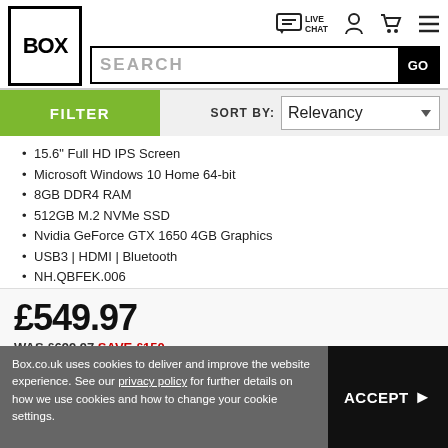BOX | SEARCH | LIVE CHAT | Navigation icons
FILTER | SORT BY: Relevancy
15.6" Full HD IPS Screen
Microsoft Windows 10 Home 64-bit
8GB DDR4 RAM
512GB M.2 NVMe SSD
Nvidia GeForce GTX 1650 4GB Graphics
USB3 | HDMI | Bluetooth
NH.QBFEK.006
£549.97
WAS £699.97 SAVE £150
FREE DPD Delivery, with 1 hour time slot
From tomorrow if ordered by 5pm
0% FOR 24 MONTHS WITH PAYPAL CREDIT
Box.co.uk uses cookies to deliver and improve the website experience. See our privacy policy for further details on how we use cookies and how to change your cookie settings.